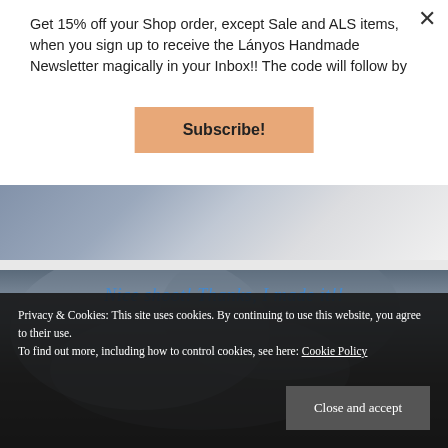Get 15% off your Shop order, except Sale and ALS items, when you sign up to receive the Lányos Handmade Newsletter magically in your Inbox!! The code will follow by
[Figure (illustration): Subscribe button with peach/salmon background color]
[Figure (photo): Two fabric photos showing blue/grey chambray fabric pieces being cut or sewn, with scissors visible in the second photo. Blue italic text overlay reads 'Nice shoot! Thanks, I made it!!']
Privacy & Cookies: This site uses cookies. By continuing to use this website, you agree to their use.
To find out more, including how to control cookies, see here: Cookie Policy